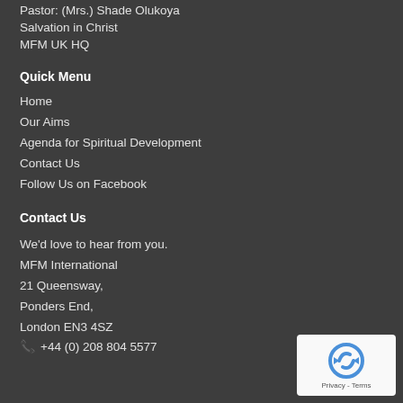Pastor: (Mrs.) Shade Olukoya
Salvation in Christ
MFM UK HQ
Quick Menu
Home
Our Aims
Agenda for Spiritual Development
Contact Us
Follow Us on Facebook
Contact Us
We'd love to hear from you.
MFM International
21 Queensway,
Ponders End,
London EN3 4SZ
+44 (0) 208 804 5577